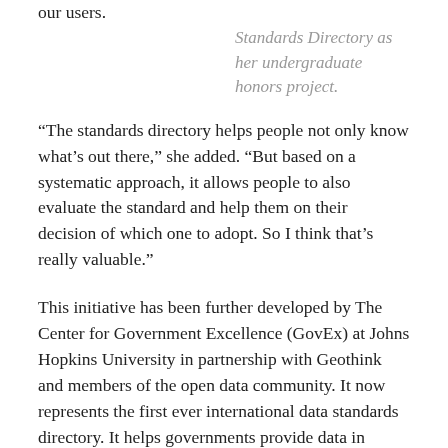our users.
Standards Directory as her undergraduate honors project.
“The standards directory helps people not only know what’s out there,” she added. “But based on a systematic approach, it allows people to also evaluate the standard and help them on their decision of which one to adopt. So I think that’s really valuable.”
This initiative has been further developed by The Center for Government Excellence (GovEx) at Johns Hopkins University in partnership with Geothink and members of the open data community. It now represents the first ever international data standards directory. It helps governments provide data in formats that will most effectively support informed decision-making and the provision of services.
“There’s a serious need for coordination on how governments at all levels classify different types of open